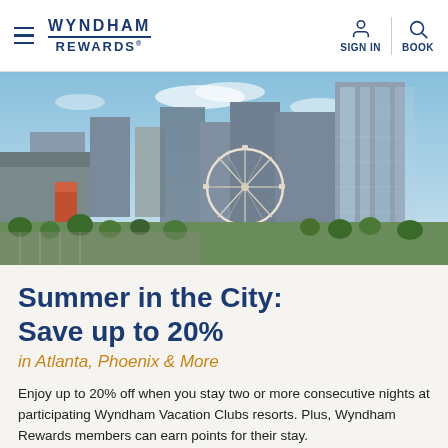WYNDHAM REWARDS
[Figure (photo): Aerial view of a city skyline with a large Ferris wheel visible among buildings and trees, likely Atlanta, Georgia. Modern skyscrapers and urban landscape under a partly cloudy sky.]
Summer in the City: Save up to 20%
in Atlanta, Phoenix & More
Enjoy up to 20% off when you stay two or more consecutive nights at participating Wyndham Vacation Clubs resorts. Plus, Wyndham Rewards members can earn points for their stay.